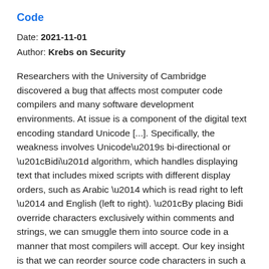Code
Date: 2021-11-01
Author: Krebs on Security
Researchers with the University of Cambridge discovered a bug that affects most computer code compilers and many software development environments. At issue is a component of the digital text encoding standard Unicode [...]. Specifically, the weakness involves Unicode’s bi-directional or “Bidi” algorithm, which handles displaying text that includes mixed scripts with different display orders, such as Arabic — which is read right to left — and English (left to right). “By placing Bidi override characters exclusively within comments and strings, we can smuggle them into source code in a manner that most compilers will accept. Our key insight is that we can reorder source code characters in such a